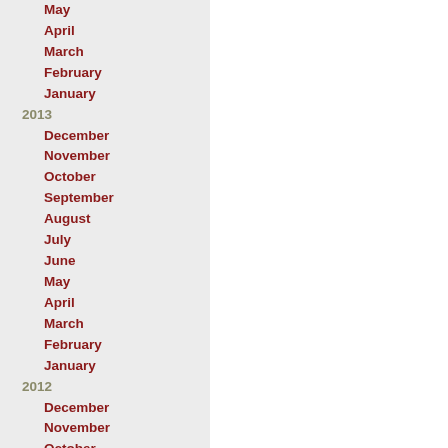May
April
March
February
January
2013
December
November
October
September
August
July
June
May
April
March
February
January
2012
December
November
October
September
August
July
June
May
April
March
February
January
2011
December
November
October
September
August
July